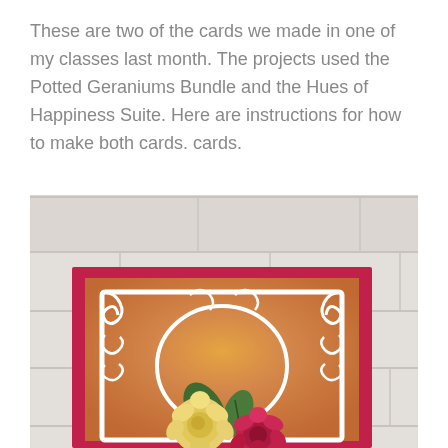These are two of the cards we made in one of my classes last month. The projects used the Potted Geraniums Bundle and the Hues of Happiness Suite. Here are instructions for how to make both cards. cards.
[Figure (photo): A handmade greeting card on a white brick background. The card has a deep magenta/dark pink border, with a warm golden-orange background layer. On top is a white intricate filigree/swirl die cut frame. In front of the frame are two roses - one yellow/cream and one dark pink/magenta - with green leaves. The photo is cropped showing the top half of the card.]